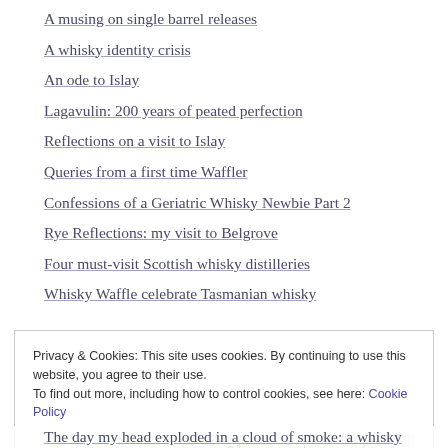A musing on single barrel releases
A whisky identity crisis
An ode to Islay
Lagavulin: 200 years of peated perfection
Reflections on a visit to Islay
Queries from a first time Waffler
Confessions of a Geriatric Whisky Newbie Part 2
Rye Reflections: my visit to Belgrove
Four must-visit Scottish whisky distilleries
Whisky Waffle celebrate Tasmanian whisky
Privacy & Cookies: This site uses cookies. By continuing to use this website, you agree to their use. To find out more, including how to control cookies, see here: Cookie Policy
The day my head exploded in a cloud of smoke: a whisky